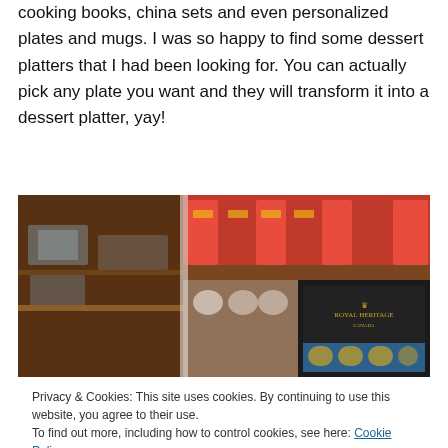cooking books, china sets and even personalized plates and mugs. I was so happy to find some dessert platters that I had been looking for. You can actually pick any plate you want and they will transform it into a dessert platter, yay!
[Figure (photo): Photo of a store shelf with china sets and a Royal Heritage box with blue and gold items]
Privacy & Cookies: This site uses cookies. By continuing to use this website, you agree to their use.
To find out more, including how to control cookies, see here: Cookie Policy
[Figure (photo): Bottom strip showing another store photo]